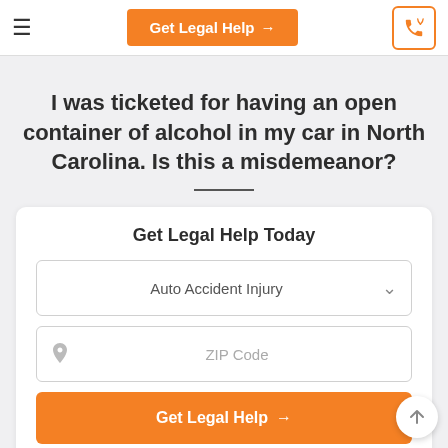≡  Get Legal Help →  [phone icon]
I was ticketed for having an open container of alcohol in my car in North Carolina. Is this a misdemeanor?
Get Legal Help Today
Auto Accident Injury [dropdown]
ZIP Code
Get Legal Help →